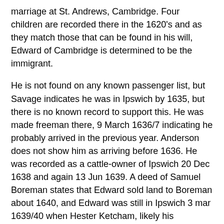marriage at St. Andrews, Cambridge. Four children are recorded there in the 1620's and as they match those that can be found in his will, Edward of Cambridge is determined to be the immigrant.
He is not found on any known passenger list, but Savage indicates he was in Ipswich by 1635, but there is no known record to support this. He was made freeman there, 9 March 1636/7 indicating he probably arrived in the previous year. Anderson does not show him as arriving before 1636. He was recorded as a cattle-owner of Ipswich 20 Dec 1638 and again 13 Jun 1639. A deed of Samuel Boreman states that Edward sold land to Boreman about 1640, and Edward was still in Ipswich 3 mar 1639/40 when Hester Ketcham, likely his daughter, was freed from service to John Woolridge.
About this time he disappears from Ipswich records and presumably went to Southold on Long Island. The